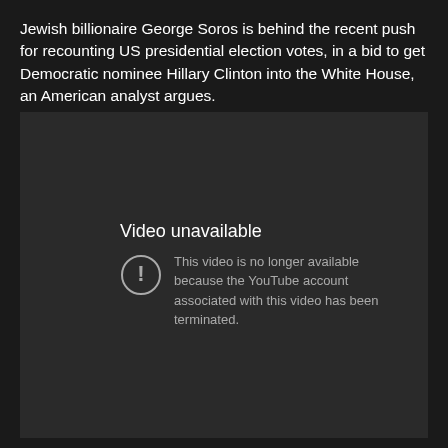Jewish billionaire George Soros is behind the recent push for recounting US presidential election votes, in a bid to get Democratic nominee Hillary Clinton into the White House, an American analyst argues.
[Figure (screenshot): YouTube video unavailable screen with dark background. Shows 'Video unavailable' heading and message: 'This video is no longer available because the YouTube account associated with this video has been terminated.' with a circle exclamation icon.]